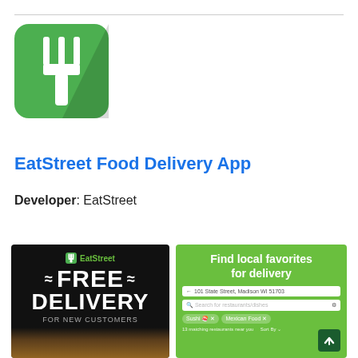[Figure (logo): EatStreet app icon — green rounded square with white fork silhouette]
EatStreet Food Delivery App
Developer: EatStreet
[Figure (screenshot): Left screenshot: black background with EatStreet logo and 'FREE DELIVERY FOR NEW CUSTOMERS' text in white]
[Figure (screenshot): Right screenshot: green background with 'Find local favorites for delivery', address bar showing '101 State Street, Madison WI 51703', search bar, filter tags]